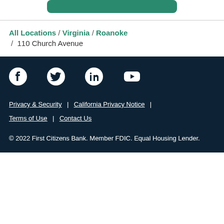[Figure (other): Green rounded button at top of page]
All Locations / Virginia / Roanoke / 110 Church Avenue
[Figure (other): Social media icons: Facebook, Twitter, LinkedIn, YouTube]
Privacy & Security | California Privacy Notice | Terms of Use | Contact Us
© 2022 First Citizens Bank. Member FDIC. Equal Housing Lender.